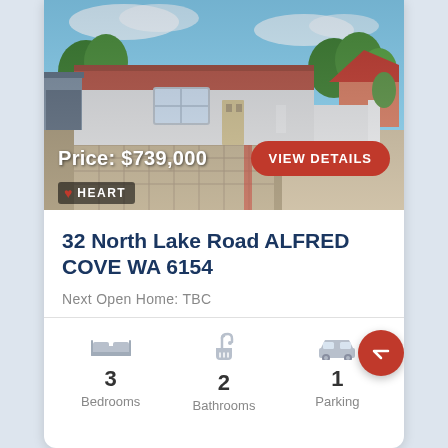[Figure (photo): Exterior photo of a single-storey house with a red tile roof, white rendered walls, a carport on the left, paved driveway, and a white rendered front fence with garden beds. Blue sky with light clouds in the background.]
Price: $739,000
VIEW DETAILS
♥ HEART
32 North Lake Road ALFRED COVE WA 6154
Next Open Home: TBC
3 Bedrooms
2 Bathrooms
1 Parking